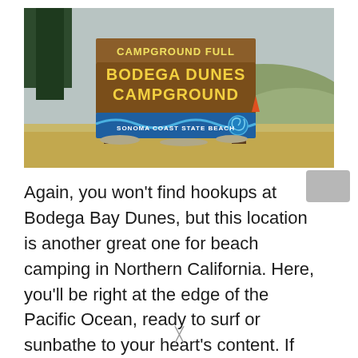[Figure (photo): A wooden campground sign reading 'CAMPGROUND FULL / BODEGA DUNES CAMPGROUND / SONOMA COAST STATE BEACH' with yellow letters on a blue wave background, set in a grassy coastal landscape with hills and trees behind.]
Again, you won't find hookups at Bodega Bay Dunes, but this location is another great one for beach camping in Northern California. Here, you'll be right at the edge of the Pacific Ocean, ready to surf or sunbathe to your heart's content. If